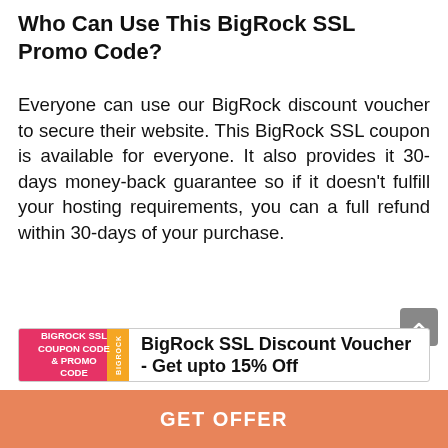Who Can Use This BigRock SSL Promo Code?
Everyone can use our BigRock discount voucher to secure their website. This BigRock SSL coupon is available for everyone. It also provides it 30-days money-back guarantee so if it doesn't fulfill your hosting requirements, you can a full refund within 30-days of your purchase.
[Figure (infographic): BigRock SSL coupon code and promo code advertisement card with pink background image on left and bold title text on right: 'BigRock SSL Discount Voucher - Get upto 15% Off']
GET OFFER